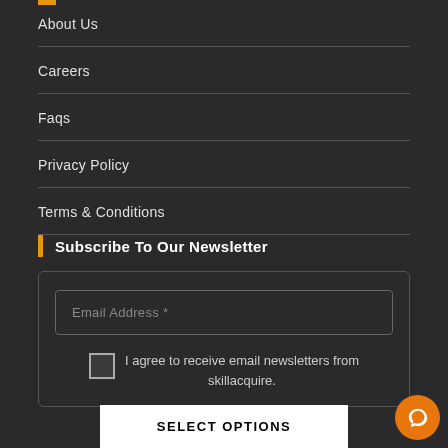About Us
Careers
Faqs
Privacy Policy
Terms & Conditions
Subscribe To Our Newsletter
Email Address *
I agree to receive email newsletters from skillacquire.
SELECT OPTIONS